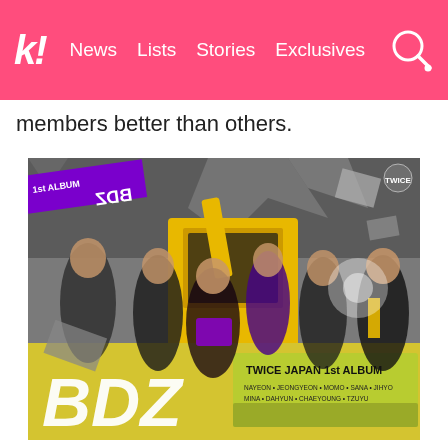k! | News | Lists | Stories | Exclusives
members better than others.
[Figure (photo): TWICE Japan 1st Album BDZ album cover showing nine members posing with a bulldozer breaking through a brick wall. Members are dressed in black, purple, and yellow outfits. A green banner at the bottom reads 'TWICE JAPAN 1st ALBUM' with 'BDZ' in large white letters. Member names listed: NAYEON, JEONGYEON, MOMO, SANA, JIHYO, MINA, DAHYUN, CHAEYOUNG, TZUYU.]